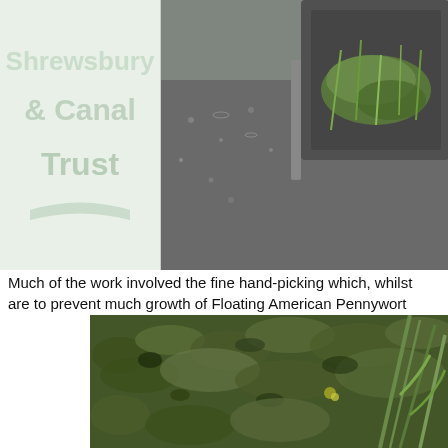[Figure (photo): Logo area with light green background showing partial text of what appears to be a canal trust or similar organization logo]
[Figure (photo): Close-up photo of a mechanical harvester/boat collecting aquatic weeds including Floating American Pennywort from a canal]
Much of the work involved the fine hand-picking which, whilst are to prevent much growth of Floating American Pennywort
[Figure (photo): Dense growth of Floating American Pennywort covering a canal surface with some taller grass stems visible]